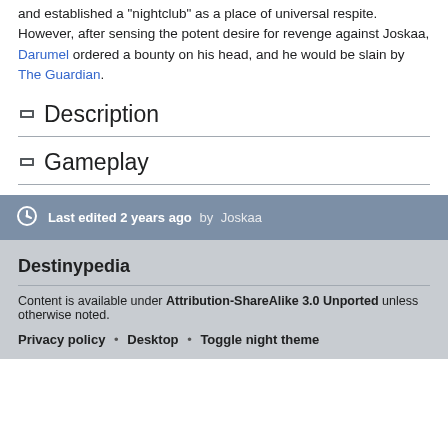and established a "nightclub" as a place of universal respite. However, after sensing the potent desire for revenge against Joskaa, Darumel ordered a bounty on his head, and he would be slain by The Guardian.
Description
Gameplay
Last edited 2 years ago by Joskaa
Destinypedia
Content is available under Attribution-ShareAlike 3.0 Unported unless otherwise noted.
Privacy policy • Desktop • Toggle night theme